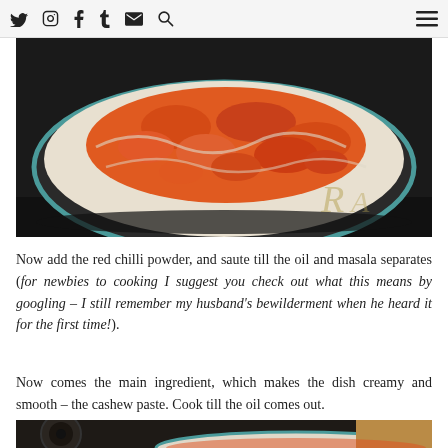social media icons: twitter, instagram, facebook, tumblr, email, search, hamburger menu
[Figure (photo): Overhead view of a white pan on a black glass stovetop with orange-red tomato and spice mixture being cooked]
Now add the red chilli powder, and saute till the oil and masala separates (for newbies to cooking I suggest you check out what this means by googling – I still remember my husband's bewilderment when he heard it for the first time!).
Now comes the main ingredient, which makes the dish creamy and smooth – the cashew paste. Cook till the oil comes out.
[Figure (photo): Bottom portion of a second cooking photo showing a pan on a stovetop — partially visible, cropped at page bottom]